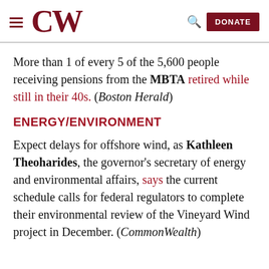CW | DONATE
More than 1 of every 5 of the 5,600 people receiving pensions from the MBTA retired while still in their 40s. (Boston Herald)
ENERGY/ENVIRONMENT
Expect delays for offshore wind, as Kathleen Theoharides, the governor's secretary of energy and environmental affairs, says the current schedule calls for federal regulators to complete their environmental review of the Vineyard Wind project in December. (CommonWealth)